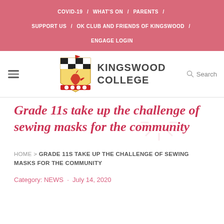COVID-19 / WHAT'S ON / PARENTS / SUPPORT US / OK CLUB AND FRIENDS OF KINGSWOOD / ENGAGE LOGIN
[Figure (logo): Kingswood College crest with dragon and shield, alongside text KINGSWOOD COLLEGE]
Grade 11s take up the challenge of sewing masks for the community
HOME > GRADE 11S TAKE UP THE CHALLENGE OF SEWING MASKS FOR THE COMMUNITY
Category: NEWS · July 14, 2020